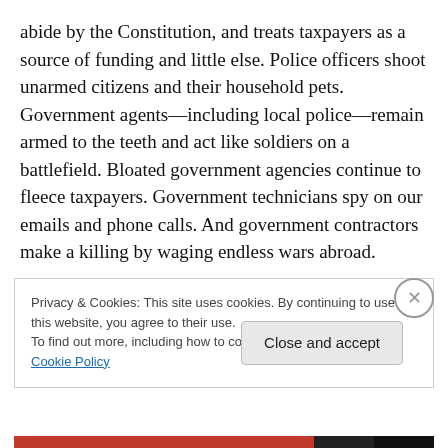abide by the Constitution, and treats taxpayers as a source of funding and little else. Police officers shoot unarmed citizens and their household pets. Government agents—including local police—remain armed to the teeth and act like soldiers on a battlefield. Bloated government agencies continue to fleece taxpayers. Government technicians spy on our emails and phone calls. And government contractors make a killing by waging endless wars abroad.
Consequently, the state of our nation remains
Privacy & Cookies: This site uses cookies. By continuing to use this website, you agree to their use.
To find out more, including how to control cookies, see here: Cookie Policy